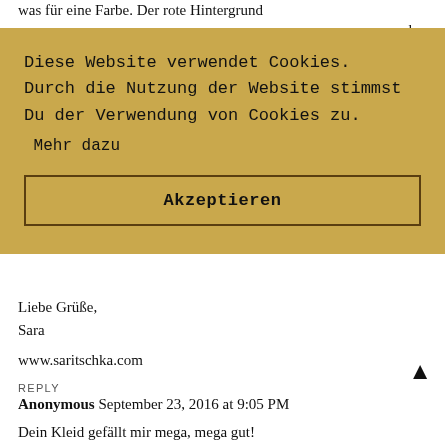was für eine Farbe. Der rote Hintergrund
d zu
[Figure (screenshot): Cookie consent overlay with golden/tan background. Text in German: 'Diese Website verwendet Cookies. Durch die Nutzung der Website stimmst Du der Verwendung von Cookies zu. Mehr dazu'. Button labeled 'Akzeptieren' with dark border.]
e AM
iiiebe
ation
Liebe Grüße,
Sara
www.saritschka.com
REPLY
Anonymous September 23, 2016 at 9:05 PM
Dein Kleid gefällt mir mega, mega gut!